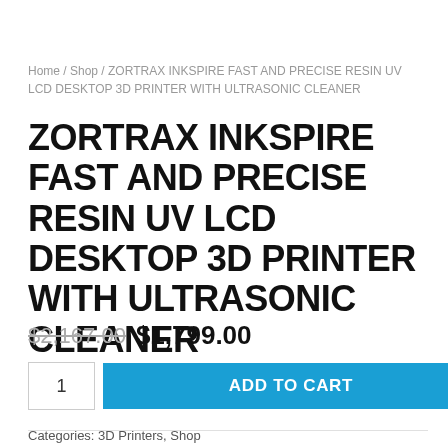Home / Shop / ZORTRAX INKSPIRE FAST AND PRECISE RESIN UV LCD DESKTOP 3D PRINTER WITH ULTRASONIC CLEANER
ZORTRAX INKSPIRE FAST AND PRECISE RESIN UV LCD DESKTOP 3D PRINTER WITH ULTRASONIC CLEANER
$2,167.00  $1,799.00
1   ADD TO CART
Categories: 3D Printers, Shop